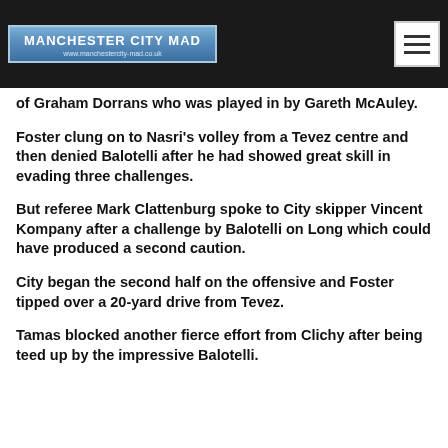MANCHESTER CITY MAD | www.manchestercity-mad.co.uk
of Graham Dorrans who was played in by Gareth McAuley.
Foster clung on to Nasri's volley from a Tevez centre and then denied Balotelli after he had showed great skill in evading three challenges.
But referee Mark Clattenburg spoke to City skipper Vincent Kompany after a challenge by Balotelli on Long which could have produced a second caution.
City began the second half on the offensive and Foster tipped over a 20-yard drive from Tevez.
Tamas blocked another fierce effort from Clichy after being teed up by the impressive Balotelli.